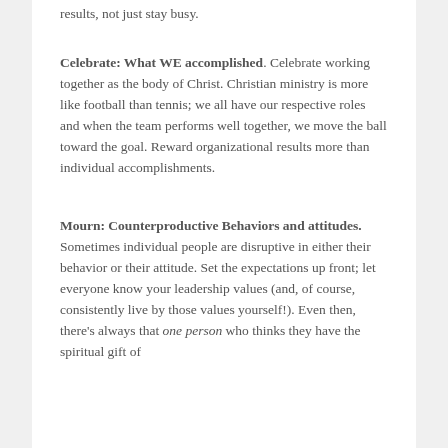results, not just stay busy.
Celebrate: What WE accomplished. Celebrate working together as the body of Christ. Christian ministry is more like football than tennis; we all have our respective roles and when the team performs well together, we move the ball toward the goal. Reward organizational results more than individual accomplishments.
Mourn: Counterproductive Behaviors and attitudes. Sometimes individual people are disruptive in either their behavior or their attitude. Set the expectations up front; let everyone know your leadership values (and, of course, consistently live by those values yourself!). Even then, there's always that one person who thinks they have the spiritual gift of